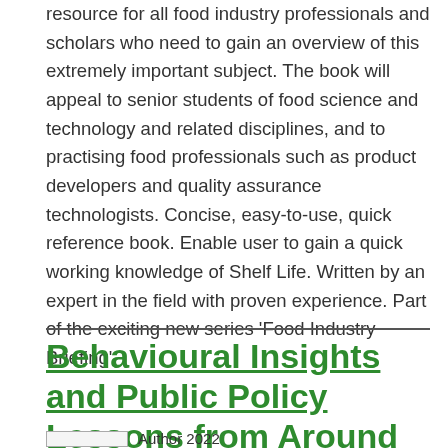resource for all food industry professionals and scholars who need to gain an overview of this extremely important subject. The book will appeal to senior students of food science and technology and related disciplines, and to practising food professionals such as product developers and quality assurance technologists. Concise, easy-to-use, quick reference book. Enable user to gain a quick working knowledge of Shelf Life. Written by an expert in the field with proven experience. Part of the exciting new series 'Food Industry Briefing'.
Behavioural Insights and Public Policy Lessons from Around the World
Author 2022